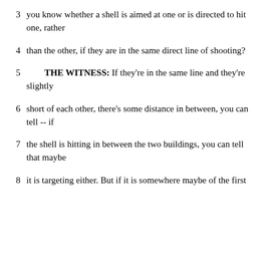3   you know whether a shell is aimed at one or is directed to hit one, rather
4   than the other, if they are in the same direct line of shooting?
5        THE WITNESS:  If they're in the same line and they're slightly
6   short of each other, there's some distance in between, you can tell -- if
7   the shell is hitting in between the two buildings, you can tell that maybe
8   it is targeting either.  But if it is somewhere maybe of the first